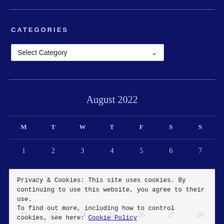CATEGORIES
Select Category
| M | T | W | T | F | S | S |
| --- | --- | --- | --- | --- | --- | --- |
| 1 | 2 | 3 | 4 | 5 | 6 | 7 |
| 22 | 23 | 24 | 25 | 26 | 27 | 28 |
Privacy & Cookies: This site uses cookies. By continuing to use this website, you agree to their use.
To find out more, including how to control cookies, see here: Cookie Policy
Close and accept